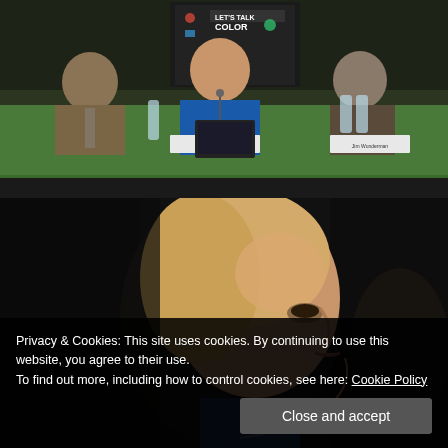[Figure (photo): Three people seated at a table with a green tablecloth at what appears to be a panel discussion. A woman in a blue jacket is in the center, speaking into a microphone. A 'Let's Talk Color' poster is visible in the background. Water bottles are on the table.]
[Figure (photo): Close-up profile view of a blonde woman looking upward, photographed against a dark background.]
Privacy & Cookies: This site uses cookies. By continuing to use this website, you agree to their use.
To find out more, including how to control cookies, see here: Cookie Policy
Close and accept